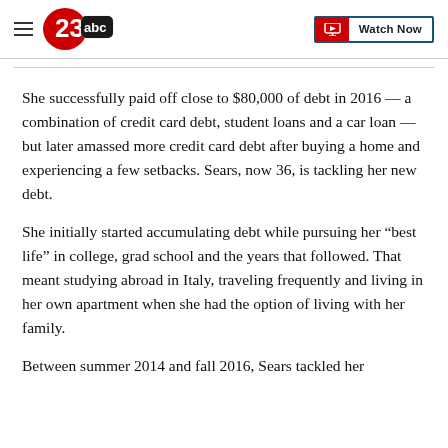23abc | Watch Now
She successfully paid off close to $80,000 of debt in 2016 — a combination of credit card debt, student loans and a car loan — but later amassed more credit card debt after buying a home and experiencing a few setbacks. Sears, now 36, is tackling her new debt.
She initially started accumulating debt while pursuing her “best life” in college, grad school and the years that followed. That meant studying abroad in Italy, traveling frequently and living in her own apartment when she had the option of living with her family.
Between summer 2014 and fall 2016, Sears tackled her